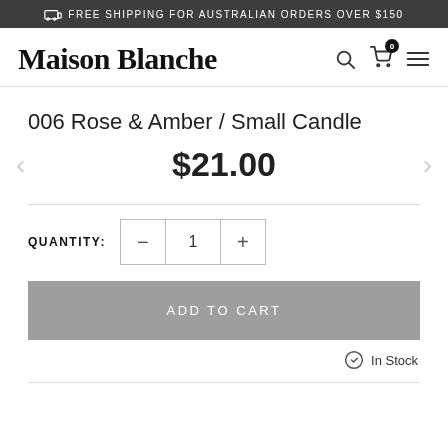FREE SHIPPING FOR AUSTRALIAN ORDERS OVER $150
Maison Blanche
006 Rose & Amber / Small Candle
$21.00
QUANTITY: 1
ADD TO CART
In Stock